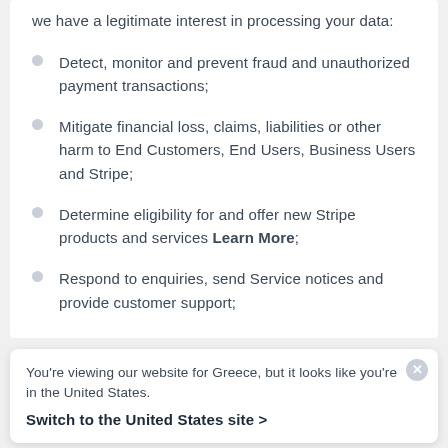we have a legitimate interest in processing your data:
Detect, monitor and prevent fraud and unauthorized payment transactions;
Mitigate financial loss, claims, liabilities or other harm to End Customers, End Users, Business Users and Stripe;
Determine eligibility for and offer new Stripe products and services Learn More;
Respond to enquiries, send Service notices and provide customer support;
You're viewing our website for Greece, but it looks like you're in the United States.
Switch to the United States site >